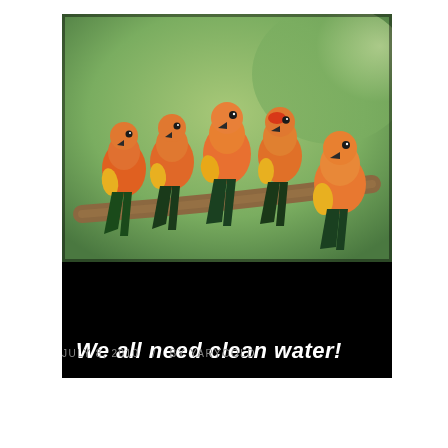[Figure (photo): A poster with a black background. The top portion shows a photograph of five orange and yellow sun conure parrots perched on a curved branch against a green blurred background. The bottom of the poster displays the text 'We all need clean water!' in white bold font on a black background.]
JULY 8, 2010  /  BY YARYCOLD